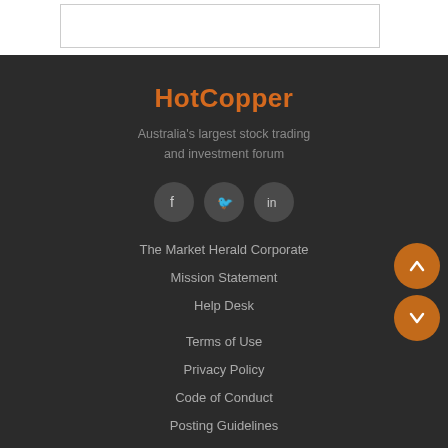[Figure (other): White top section with a bordered rectangle/box outline]
HotCopper
Australia's largest stock trading and investment forum
[Figure (other): Three circular social media icons: Facebook, Twitter, LinkedIn on dark background]
The Market Herald Corporate
Mission Statement
Help Desk
Terms of Use
Privacy Policy
Code of Conduct
Posting Guidelines